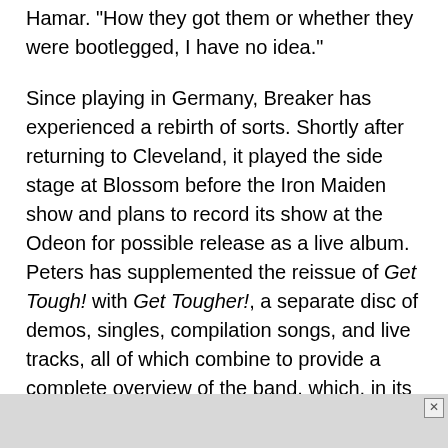Hamar. "How they got them or whether they were bootlegged, I have no idea."
Since playing in Germany, Breaker has experienced a rebirth of sorts. Shortly after returning to Cleveland, it played the side stage at Blossom before the Iron Maiden show and plans to record its show at the Odeon for possible release as a live album. Peters has supplemented the reissue of Get Tough! with Get Tougher!, a separate disc of demos, singles, compilation songs, and live tracks, all of which combine to provide a complete overview of the band, which, in its heyday in the '80s, was one of the most progressive metal bands in the region.
Formed in 1982 -- when Hamar and bassist Ian Shipley left their band Hellion to join drummer Mark Klein, guitarist
[Figure (other): Advertisement close button box at bottom of page]